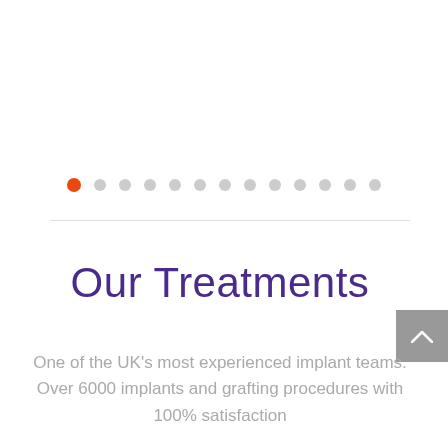[Figure (other): Carousel pagination dots: one orange filled dot followed by 13 grey dots in a horizontal row]
Our Treatments
One of the UK's most experienced implant teams. Over 6000 implants and grafting procedures with 100% satisfaction